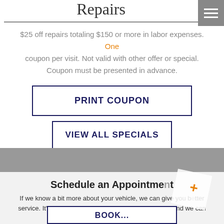Repairs
$25 off repairs totaling $150 or more in labor expenses. One coupon per visit. Not valid with other offer or special. Coupon must be presented in advance.
PRINT COUPON
VIEW ALL SPECIALS
Schedule an Appointment
If we know a bit more about your vehicle, we can give you better service. It's simple and fast – just give us your details and we can schedule an appointment for you.
BOOK...